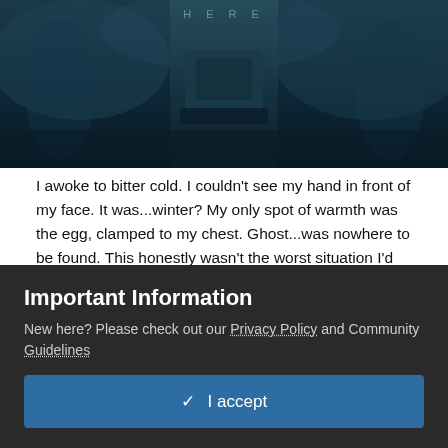[Figure (photo): Dark cinematic/fantasy hero image with a figure in armor against a dark blue-teal background, partially cropped]
I awoke to bitter cold. I couldn't see my hand in front of my face. It was...winter? My only spot of warmth was the egg, clamped to my chest. Ghost...was nowhere to be found. This honestly wasn't the worst situation I'd dreamt up. Fortunately for me, the worst situation presented itself. Figures...five of them... approached slowly, almost ceremonially a la LOTR's Nazgul. These, as it turned out, were the only thing worse than real life Nazgul. Real life White Walkers. The smart kind. That direwolf analogy was really starting to seem apt, wasn't it? Speaking of which... I felt the ribbon tense around my leg. A good thing too. With my arm still out for the count, and Ghost...gone, I was going to have to get creative
Important Information
New here? Please check out our Privacy Policy and Community Guidelines
✓  I accept